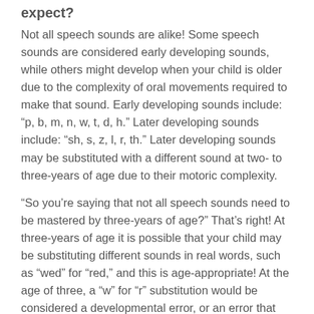expect?
Not all speech sounds are alike! Some speech sounds are considered early developing sounds, while others might develop when your child is older due to the complexity of oral movements required to make that sound. Early developing sounds include: “p, b, m, n, w, t, d, h.” Later developing sounds include: “sh, s, z, l, r, th.” Later developing sounds may be substituted with a different sound at two- to three-years of age due to their motoric complexity.
“So you’re saying that not all speech sounds need to be mastered by three-years of age?” That’s right! At three-years of age it is possible that your child may be substituting different sounds in real words, such as “wed” for “red,” and this is age-appropriate! At the age of three, a “w” for “r” substitution would be considered a developmental error, or an error that